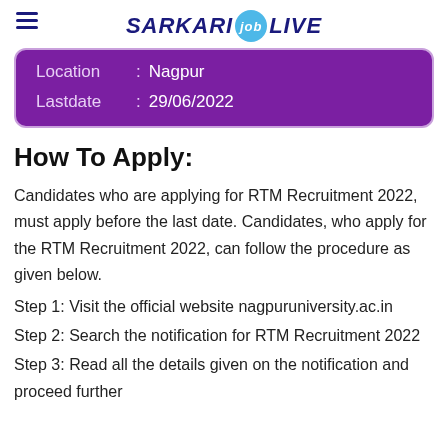SARKARI job LIVE
| Field | Separator | Value |
| --- | --- | --- |
| Location | : | Nagpur |
| Lastdate | : | 29/06/2022 |
How To Apply:
Candidates who are applying for RTM Recruitment 2022, must apply before the last date. Candidates, who apply for the RTM Recruitment 2022, can follow the procedure as given below.
Step 1: Visit the official website nagpuruniversity.ac.in
Step 2: Search the notification for RTM Recruitment 2022
Step 3: Read all the details given on the notification and proceed further